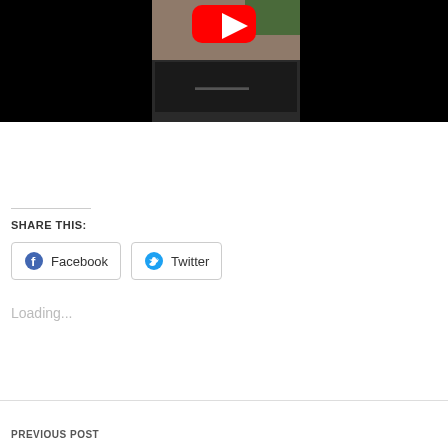[Figure (screenshot): YouTube video thumbnail embedded in a webpage. The video shows a black background on the left and a rocky trail scene with vegetation viewed from a vehicle roof on the right. A red YouTube play button icon is visible at the top center of the thumbnail area.]
SHARE THIS:
Facebook
Twitter
Loading...
PREVIOUS POST